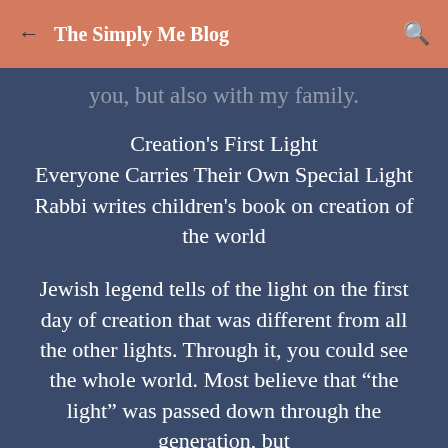The Simply Me Blog
you, but also with my family.
Creation's First Light
Everyone Carries Their Own Special Light
Rabbi writes children's book on creation of the world
Jewish legend tells of the light on the first day of creation that was different from all the other lights. Through it, you could see the whole world. Most believe that “the light” was passed down through the generation, but